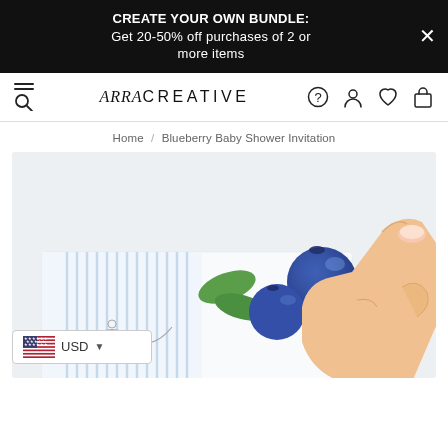CREATE YOUR OWN BUNDLE: Get 20-50% off purchases of 2 or more items
ARRA CREATIVE
Home / Blueberry Baby Shower Invitation
[Figure (photo): A hand holding a Blueberry Baby Shower Invitation card with blue and green blueberry illustrations, against a white textured background]
USD